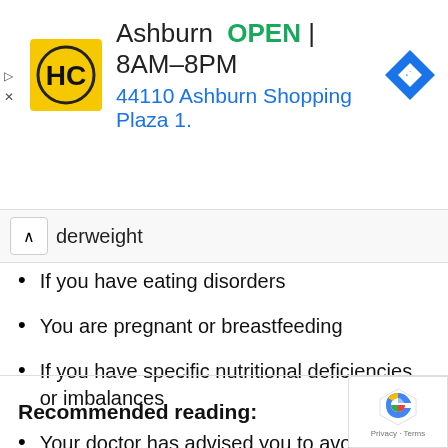[Figure (other): Advertisement banner for HC Ashburn store showing logo, OPEN status, hours 8AM-8PM, address 44110 Ashburn Shopping Plaza 1., and navigation icon]
derweight
If you have eating disorders
You are pregnant or breastfeeding
If you have specific nutritional deficiencies or imbalances
Your doctor has advised you to avoid low-calorie diets
Not suitable for children across all age groups
Recommended reading: